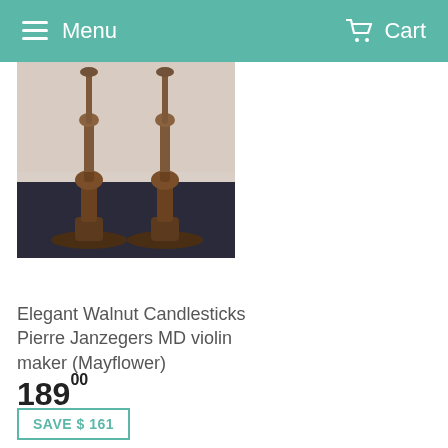Menu   Cart
[Figure (photo): Two tall wooden candlesticks with turned spindle profiles and wide bases, placed on a dark fabric surface against a light curtain background.]
Elegant Walnut Candlesticks Pierre Janzegers MD violin maker (Mayflower)
189⁰⁰
SAVE $ 161